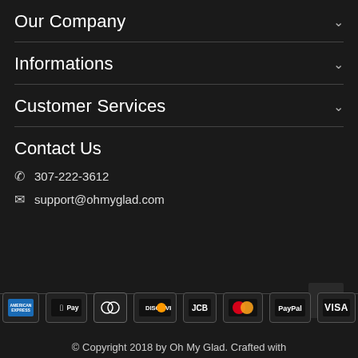Our Company
Informations
Customer Services
Contact Us
☎ 307-222-3612
✉ support@ohmyglad.com
[Figure (other): Payment method logos: American Express, Apple Pay, Diners Club/Maestro, Discover, JCB, Mastercard, PayPal, VISA]
© Copyright 2018 by Oh My Glad. Crafted with